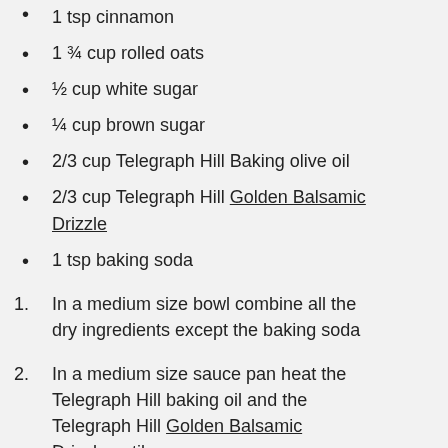1 tsp cinnamon
1 ¾ cup rolled oats
½ cup white sugar
¼ cup brown sugar
2/3 cup Telegraph Hill Baking olive oil
2/3 cup Telegraph Hill Golden Balsamic Drizzle
1 tsp baking soda
1. In a medium size bowl combine all the dry ingredients except the baking soda
2. In a medium size sauce pan heat the Telegraph Hill baking oil and the Telegraph Hill Golden Balsamic Drizzle until warm
3. Remove from the heat and add the baking soda solution